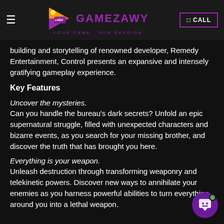GAMEZAWY — YOUR GAME...OUR PASSION
building and storytelling of renowned developer, Remedy Entertainment, Control presents an expansive and intensely gratifying gameplay experience.
Key Features
Uncover the mysteries.
Can you handle the bureau's dark secrets? Unfold an epic supernatural struggle, filled with unexpected characters and bizarre events, as you search for your missing brother, and discover the truth that has brought you here.
Everything is your weapon.
Unleash destruction through transforming weaponry and telekinetic powers. Discover new ways to annihilate your enemies as you harness powerful abilities to turn everything around you into a lethal weapon.